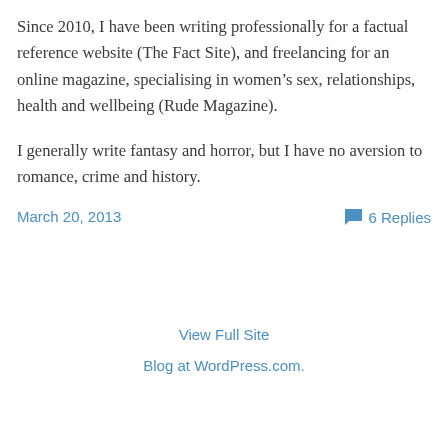Since 2010, I have been writing professionally for a factual reference website (The Fact Site), and freelancing for an online magazine, specialising in women's sex, relationships, health and wellbeing (Rude Magazine).
I generally write fantasy and horror, but I have no aversion to romance, crime and history.
March 20, 2013
6 Replies
View Full Site
Blog at WordPress.com.